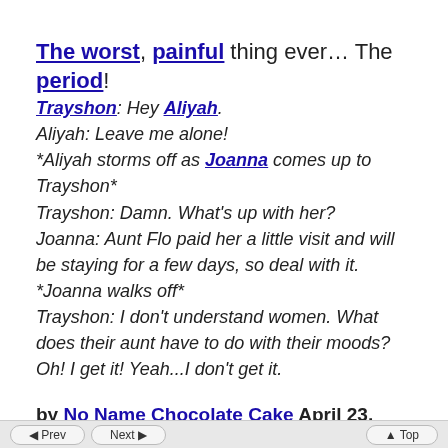The worst, painful thing ever... The period!
Trayshon: Hey Aliyah.
Aliyah: Leave me alone!
*Aliyah storms off as Joanna comes up to Trayshon*
Trayshon: Damn. What's up with her?
Joanna: Aunt Flo paid her a little visit and will be staying for a few days, so deal with it.
*Joanna walks off*
Trayshon: I don't understand women. What does their aunt have to do with their moods? Oh! I get it! Yeah...I don't get it.
by No Name Chocolate Cake April 23, 2016